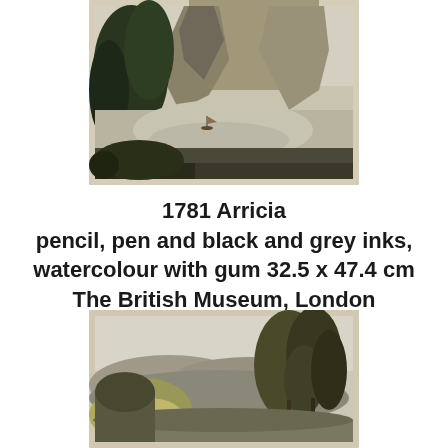[Figure (illustration): A watercolour painting showing a dramatic rocky gorge with tall cliffs, dark trees on the left, and a calm water passage with a small boat visible. Muted green, brown, and grey tones. Framed with a light beige/cream border.]
1781 Arricia pencil, pen and black and grey inks, watercolour with gum 32.5 x 47.4 cm The British Museum, London
[Figure (illustration): A watercolour painting showing an open landscape with trees on the right, rolling hills in the background, and flowering shrubs in the foreground. Muted green, brown, and grey-blue tones. Framed with a light beige/cream border.]